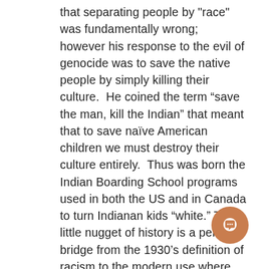that separating people by "race" was fundamentally wrong; however his response to the evil of genocide was to save the native people by simply killing their culture.  He coined the term “save the man, kill the Indian” that meant that to save naïve American children we must destroy their culture entirely.  Thus was born the Indian Boarding School programs used in both the US and in Canada to turn Indianan kids “white.”  This little nugget of history is a perfect bridge from the 1930’s definition of racism to the modern use where "racist" is used to describe the effects of policies that keep certain ethnic groups marginalized.  That is why it is hard to find someone who will say those of African descent are genetically inferior;
[Figure (other): Orange circular chat button with speech bubble icon in the bottom right area of the page]